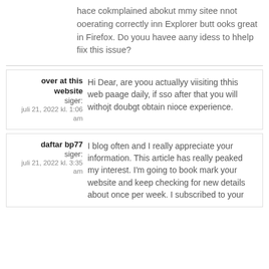hace cokmplained abokut mmy sitee nnot ooerating correctly inn Explorer butt ooks great in Firefox. Do youu havee aany idess to hhelp fiix this issue?
over at this website siger: Hi Dear, are yoou actuallyy viisiting thhis web paage daily, if sso after that you will withojt doubgt obtain nioce experience. juli 21, 2022 kl. 1:06 am
daftar bp77 siger: I blog often and I really appreciate your information. This article has really peaked my interest. I'm going to book mark your website and keep checking for new details about once per week. I subscribed to your juli 21, 2022 kl. 3:35 am